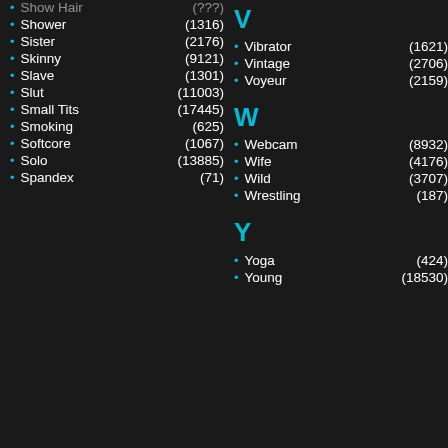Shower (1316)
Sister (2176)
Skinny (9121)
Slave (1301)
Slut (11003)
Small Tits (17445)
Smoking (625)
Softcore (1067)
Solo (13885)
Spandex (71)
V
Vibrator (1621)
Vintage (2706)
Voyeur (2159)
W
Webcam (8932)
Wife (4176)
Wild (3707)
Wrestling (187)
Y
Yoga (424)
Young (18530)